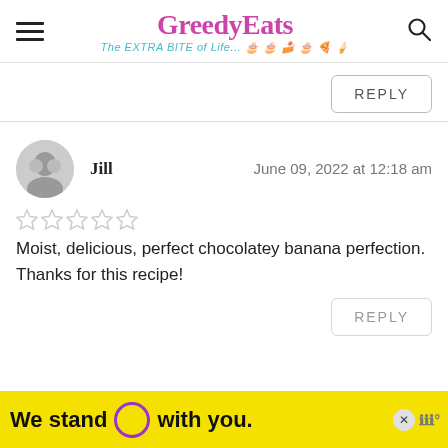GreedyEats — The EXTRA BITE of Life...
REPLY
Jill   June 09, 2022 at 12:18 am
Moist, delicious, perfect chocolatey banana perfection. Thanks for this recipe!
REPLY
[Figure (infographic): Yellow advertisement banner: 'We stand O with you.' with purple circle logo and close button]